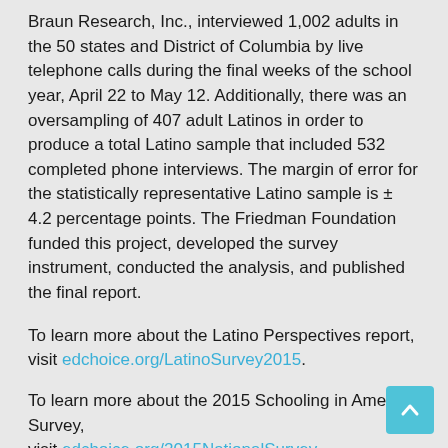Braun Research, Inc., interviewed 1,002 adults in the 50 states and District of Columbia by live telephone calls during the final weeks of the school year, April 22 to May 12. Additionally, there was an oversampling of 407 adult Latinos in order to produce a total Latino sample that included 532 completed phone interviews. The margin of error for the statistically representative Latino sample is ± 4.2 percentage points. The Friedman Foundation funded this project, developed the survey instrument, conducted the analysis, and published the final report.
To learn more about the Latino Perspectives report, visit edchoice.org/LatinoSurvey2015.
To learn more about the 2015 Schooling in America Survey, visit edchoice.org/2015NationalSurvey